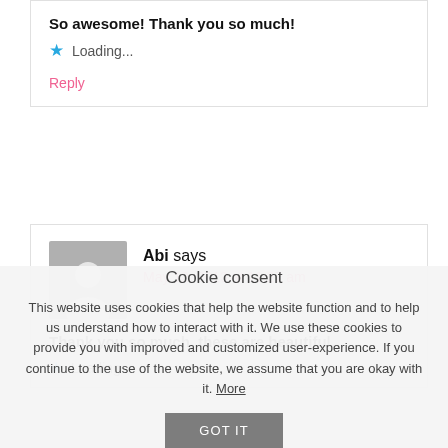So awesome! Thank you so much!
Loading...
Reply
Abi says
May 12, 2013 at 11:27 am
Thank you so much, these are beautiful.
Loading...
Cookie consent
This website uses cookies that help the website function and to help us understand how to interact with it. We use these cookies to provide you with improved and customized user-experience. If you continue to the use of the website, we assume that you are okay with it. More
GOT IT